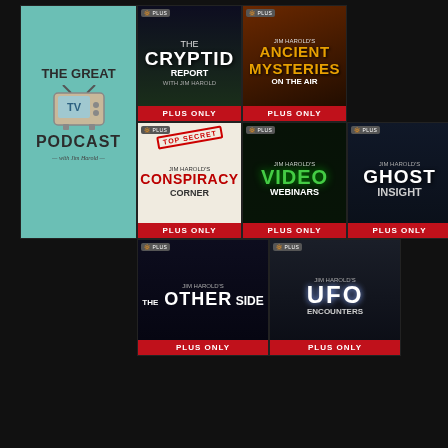[Figure (other): The Great TV Podcast logo with teal background, retro TV icon]
[Figure (other): The Cryptid Report with Jim Harold - dark forest background, PLUS ONLY label]
[Figure (other): Jim Harold's Ancient Mysteries On The Air - fiery background, PLUS ONLY label]
[Figure (other): Jim Harold's Conspiracy Corner - top secret stamp on white background, PLUS ONLY label]
[Figure (other): Jim Harold's Video Webinars - green text on dark background, PLUS ONLY label]
[Figure (other): Jim Harold's Ghost Insight - dark atmospheric background, PLUS ONLY label]
[Figure (other): Jim Harold's The Other Side - space/moon background, PLUS ONLY label]
[Figure (other): Jim Harold's UFO Encounters - UFO over desert, PLUS ONLY label]